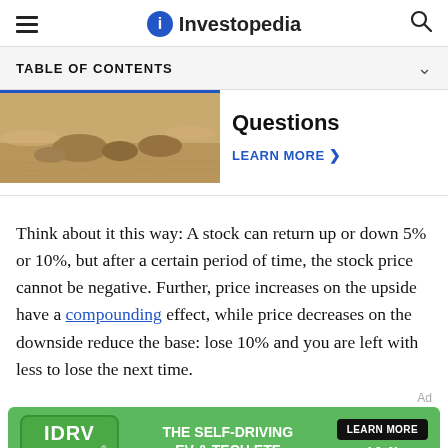Investopedia
TABLE OF CONTENTS
[Figure (photo): Sandy terrain with rocks and stones — thumbnail image]
Questions
LEARN MORE >
Think about it this way: A stock can return up or down 5% or 10%, but after a certain period of time, the stock price cannot be negative. Further, price increases on the upside have a compounding effect, while price decreases on the downside reduce the base: lose 10% and you are left with less to lose the next time.
[Figure (other): IDRV from iShares advertisement — THE SELF-DRIVING EV & TECH ETF — LEARN MORE — Fidelity]